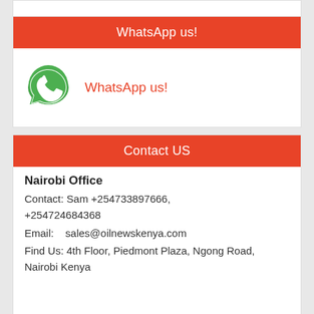WhatsApp us!
[Figure (logo): WhatsApp green phone logo icon]
WhatsApp us!
Contact US
Nairobi Office
Contact: Sam +254733897666, +254724684368
Email:    sales@oilnewskenya.com
Find Us: 4th Floor, Piedmont Plaza, Ngong Road, Nairobi Kenya
Shanghai Office